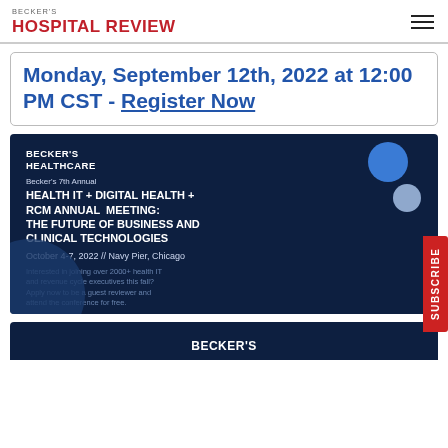BECKER'S HOSPITAL REVIEW
Monday, September 12th, 2022 at 12:00 PM CST - Register Now
[Figure (infographic): Becker's Healthcare conference advertisement card on dark navy background. Shows 'BECKER'S HEALTHCARE' logo, 'Becker's 7th Annual' subtitle, 'HEALTH IT + DIGITAL HEALTH + RCM ANNUAL MEETING: THE FUTURE OF BUSINESS AND CLINICAL TECHNOLOGIES', date 'October 4-7, 2022 // Navy Pier, Chicago', and body text about joining 2000+ health IT and revenue cycle executives. Decorative blue and gray circles in upper right, large teal circle lower left.]
[Figure (infographic): Partial second Becker's Healthcare conference card showing 'BECKER'S' text on dark navy background, partially visible at bottom of page.]